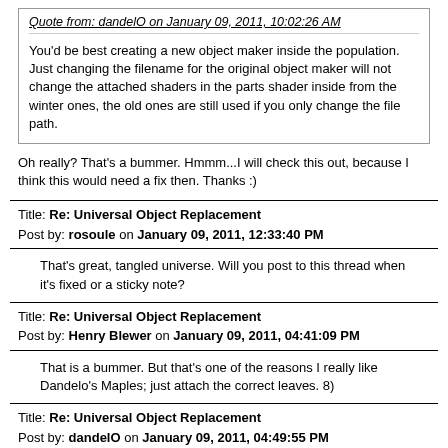Quote from: dandelO on January 09, 2011, 10:02:26 AM
You'd be best creating a new object maker inside the population. Just changing the filename for the original object maker will not change the attached shaders in the parts shader inside from the winter ones, the old ones are still used if you only change the file path.
Oh really? That's a bummer. Hmmm...I will check this out, because I think this would need a fix then. Thanks :)
Title: Re: Universal Object Replacement
Post by: rosoule on January 09, 2011, 12:33:40 PM
That's great, tangled universe. Will you post to this thread when it's fixed or a sticky note?
Title: Re: Universal Object Replacement
Post by: Henry Blewer on January 09, 2011, 04:41:09 PM
That is a bummer. But that's one of the reasons I really like Dandelo's Maples; just attach the correct leaves. 8)
Title: Re: Universal Object Replacement
Post by: dandelO on January 09, 2011, 04:49:55 PM